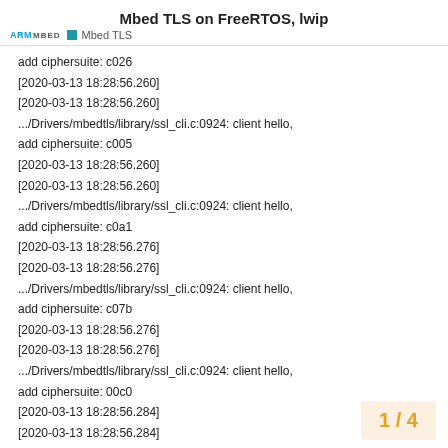Mbed TLS on FreeRTOS, lwip
add ciphersuite: c026
[2020-03-13 18:28:56.260]
[2020-03-13 18:28:56.260]
.../Drivers/mbedtls/library/ssl_cli.c:0924: client hello, add ciphersuite: c005
[2020-03-13 18:28:56.260]
[2020-03-13 18:28:56.260]
.../Drivers/mbedtls/library/ssl_cli.c:0924: client hello, add ciphersuite: c0a1
[2020-03-13 18:28:56.276]
[2020-03-13 18:28:56.276]
.../Drivers/mbedtls/library/ssl_cli.c:0924: client hello, add ciphersuite: c07b
[2020-03-13 18:28:56.276]
[2020-03-13 18:28:56.276]
.../Drivers/mbedtls/library/ssl_cli.c:0924: client hello, add ciphersuite: 00c0
[2020-03-13 18:28:56.284]
[2020-03-13 18:28:56.284]
1 / 4